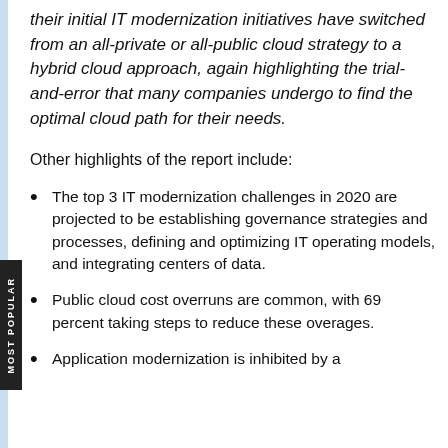their initial IT modernization initiatives have switched from an all-private or all-public cloud strategy to a hybrid cloud approach, again highlighting the trial-and-error that many companies undergo to find the optimal cloud path for their needs.
Other highlights of the report include:
The top 3 IT modernization challenges in 2020 are projected to be establishing governance strategies and processes, defining and optimizing IT operating models, and integrating centers of data.
Public cloud cost overruns are common, with 69 percent taking steps to reduce these overages.
Application modernization is inhibited by a